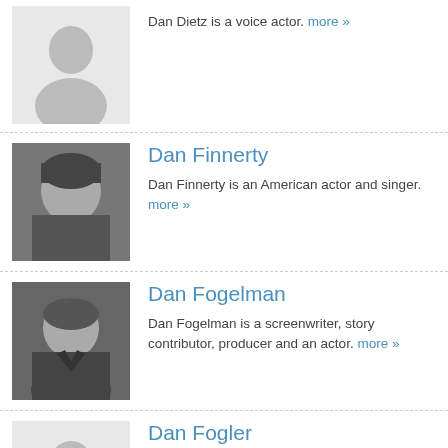[Figure (photo): Placeholder silhouette for Dan Dietz]
Dan Dietz is a voice actor. more »
[Figure (photo): Black and white photo of Dan Finnerty smiling]
Dan Finnerty
Dan Finnerty is an American actor and singer. more »
[Figure (photo): Black and white photo of Dan Fogelman in a suit]
Dan Fogelman
Dan Fogelman is a screenwriter, story contributor, producer and an actor. more »
[Figure (photo): Placeholder silhouette for Dan Fogler]
Dan Fogler
Daniel Kevin "Dan" Fogler is an American stand-up comedian, actor, musician, playwright,... more »